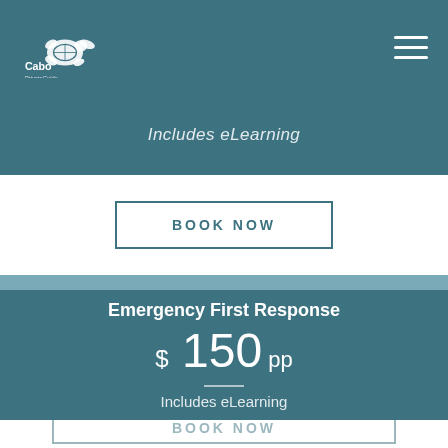[Figure (logo): Cabo Private Guide logo with turtle graphic]
Includes eLearning
BOOK NOW
Emergency First Response
$ 150 pp
Includes eLearning